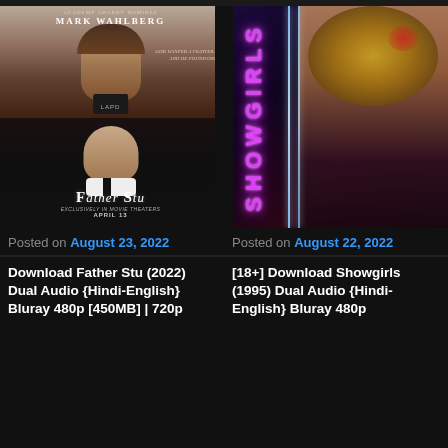[Figure (photo): Movie poster for Father Stu (2022) starring Mark Wahlberg — top half shows mugshot-style image, bottom half shows priest collar image with title 'Father Stu' and 'April 13']
[Figure (photo): Movie poster for Showgirls (1995) — neon pink vertical 'SHOWGIRLS' text on dark background with pole dancer woman]
Posted on August 23, 2022
Posted on August 22, 2022
Download Father Stu (2022) Dual Audio {Hindi-English} Bluray 480p [450MB] | 720p
[18+] Download Showgirls (1995) Dual Audio {Hindi-English} Bluray 480p